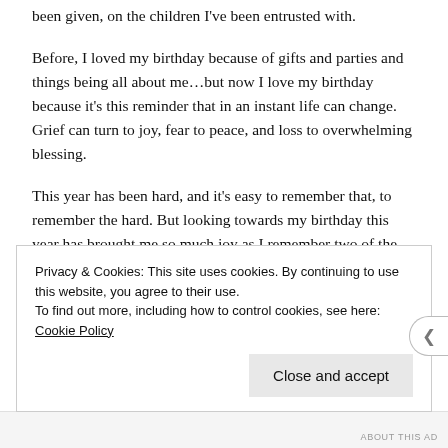been given, on the children I've been entrusted with.
Before, I loved my birthday because of gifts and parties and things being all about me…but now I love my birthday because it's this reminder that in an instant life can change. Grief can turn to joy, fear to peace, and loss to overwhelming blessing.
This year has been hard, and it's easy to remember that, to remember the hard. But looking towards my birthday this year has brought me so much joy as I remember two of the greatest gifts I have ever received.
Privacy & Cookies: This site uses cookies. By continuing to use this website, you agree to their use.
To find out more, including how to control cookies, see here: Cookie Policy